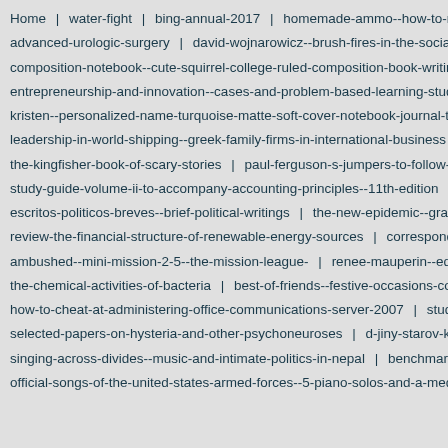Home | water-fight | bing-annual-2017 | homemade-ammo--how-to-make-i...
advanced-urologic-surgery | david-wojnarowicz--brush-fires-in-the-social-lands...
composition-notebook--cute-squirrel-college-ruled-composition-book-writing-gift-f...
entrepreneurship-and-innovation--cases-and-problem-based-learning-study-guid...
kristen--personalized-name-turquoise-matte-soft-cover-notebook-journal-to-write-...
leadership-in-world-shipping--greek-family-firms-in-international-business | prea...
the-kingfisher-book-of-scary-stories | paul-ferguson-s-jumpers-to-follow-2017-2...
study-guide-volume-ii-to-accompany-accounting-principles--11th-edition | basti...
escritos-politicos-breves--brief-political-writings | the-new-epidemic--grading-pr...
review-the-financial-structure-of-renewable-energy-sources | correspondance-e...
ambushed--mini-mission-2-5--the-mission-league- | renee-mauperin--ed-1864-...
the-chemical-activities-of-bacteria | best-of-friends--festive-occasions-cookboo...
how-to-cheat-at-administering-office-communications-server-2007 | student-wo...
selected-papers-on-hysteria-and-other-psychoneuroses | d-jiny-starov-k-ho-bl-...
singing-across-divides--music-and-intimate-politics-in-nepal | benchmark-series...
official-songs-of-the-united-states-armed-forces--5-piano-solos-and-a-medley--ea...